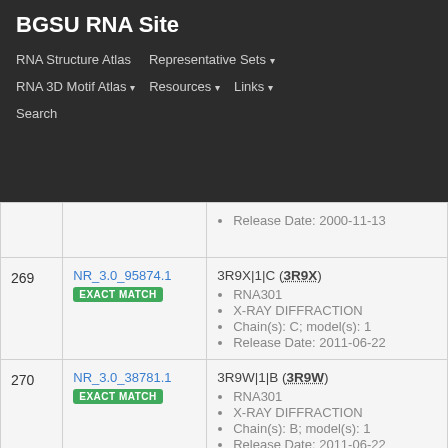BGSU RNA Site
RNA Structure Atlas | Representative Sets | RNA 3D Motif Atlas | Resources | Links | Search
| # | ID | Info |
| --- | --- | --- |
| 269 | NR_3.0_95874.1 EXACT MATCH | 3R9X|1|C (3R9X)
• RNA301
• X-RAY DIFFRACTION
• Chain(s): C; model(s): 1
• Release Date: 2011-06-22 |
| 270 | NR_3.0_38781.1 EXACT MATCH | 3R9W|1|B (3R9W)
• RNA301
• X-RAY DIFFRACTION
• Chain(s): B; model(s): 1
• Release Date: 2011-06-22 |
| 271 | NR_3.0_46231.1 | 3NMU|1|E+3NMU|1|K (3NMU) |